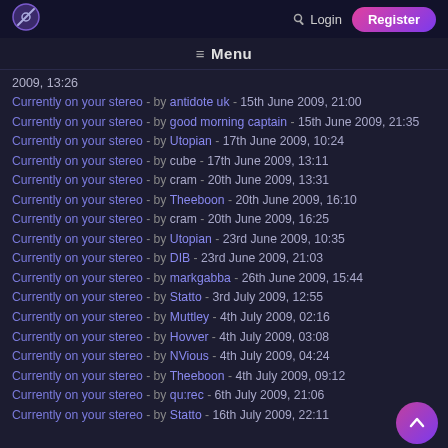Logo | Login | Register
≡ Menu
2009, 13:26
Currently on your stereo - by antidote uk - 15th June 2009, 21:00
Currently on your stereo - by good morning captain - 15th June 2009, 21:35
Currently on your stereo - by Utopian - 17th June 2009, 10:24
Currently on your stereo - by cube - 17th June 2009, 13:11
Currently on your stereo - by cram - 20th June 2009, 13:31
Currently on your stereo - by Theeboon - 20th June 2009, 16:10
Currently on your stereo - by cram - 20th June 2009, 16:25
Currently on your stereo - by Utopian - 23rd June 2009, 10:35
Currently on your stereo - by DIB - 23rd June 2009, 21:03
Currently on your stereo - by markgabba - 26th June 2009, 15:44
Currently on your stereo - by Statto - 3rd July 2009, 12:55
Currently on your stereo - by Muttley - 4th July 2009, 02:16
Currently on your stereo - by Hovver - 4th July 2009, 03:08
Currently on your stereo - by NVious - 4th July 2009, 04:24
Currently on your stereo - by Theeboon - 4th July 2009, 09:12
Currently on your stereo - by qu:rec - 6th July 2009, 21:06
Currently on your stereo - by Statto - 16th July 2009, 22:11